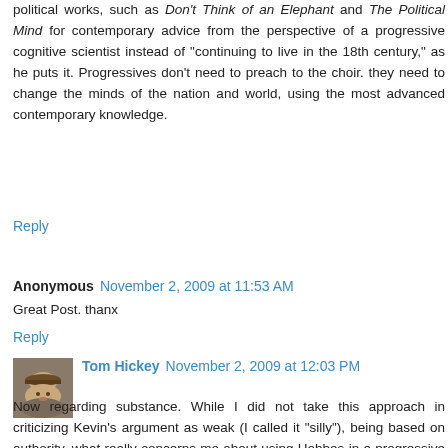political works, such as Don't Think of an Elephant and The Political Mind for contemporary advice from the perspective of a progressive cognitive scientist instead of "continuing to live in the 18th century," as he puts it. Progressives don't need to preach to the choir. they need to change the minds of the nation and world, using the most advanced contemporary knowledge.
Reply
Anonymous  November 2, 2009 at 11:53 AM
Great Post. thanx
Reply
[Figure (photo): Avatar photo of Tom Hickey - person wearing a hat, outdoor photo]
Tom Hickey  November 2, 2009 at 12:03 PM
Now regarding substance. While I did not take this approach in criticizing Kevin's argument as weak (I called it "silly"), being based on authority, what really concerns me about using Hobbes in a progressive context is this. The presumption of Hobbes is that man in the state of nature is